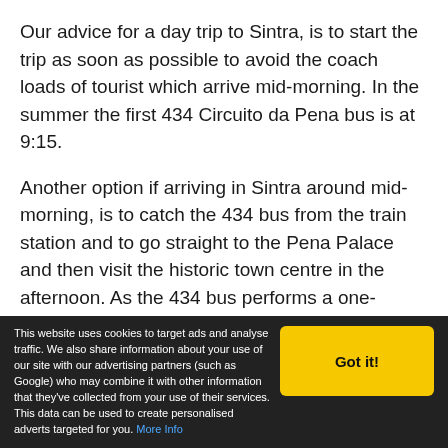Our advice for a day trip to Sintra, is to start the trip as soon as possible to avoid the coach loads of tourist which arrive mid-morning. In the summer the first 434 Circuito da Pena bus is at 9:15.
Another option if arriving in Sintra around mid-morning, is to catch the 434 bus from the train station and to go straight to the Pena Palace and then visit the historic town centre in the afternoon. As the 434 bus performs a one-directional loop, it tends to focus tourists in the town in the morning and moves them to the hills of the Pena Palace for the afternoon. By
This website uses cookies to target ads and analyse traffic. We also share information about your use of our site with our advertising partners (such as Google) who may combine it with other information that they've collected from your use of their services. This data can be used to create personalised adverts targeted for you. More Info